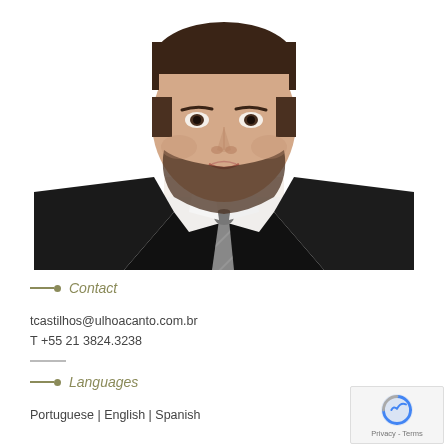[Figure (photo): Professional headshot photo of a young man in a dark suit with a striped tie, white shirt, with beard, against a white background.]
Contact
tcastilhos@ulhoacanto.com.br
T +55 21 3824.3238
Languages
Portuguese | English | Spanish